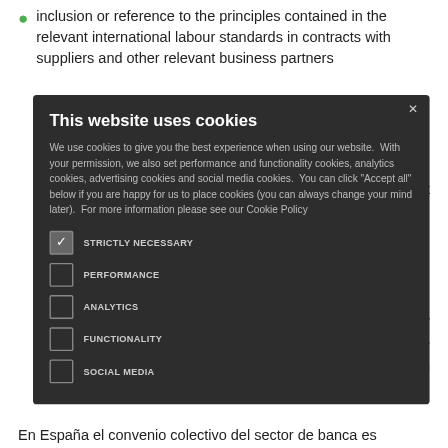inclusion or reference to the principles contained in the relevant international labour standards in contracts with suppliers and other relevant business partners
policies, cent
ntly n the proach
[Figure (screenshot): Cookie consent modal dialog on dark background. Title: 'This website uses cookies'. Body text explains cookie usage and permissions. Checkboxes for: STRICTLY NECESSARY (checked), PERFORMANCE (unchecked), ANALYTICS (unchecked), FUNCTIONALITY (unchecked), SOCIAL MEDIA (unchecked). Close button (×) in top right corner.]
En España el convenio colectivo del sector de banca es